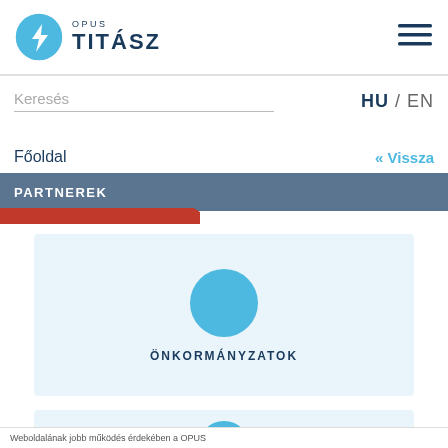[Figure (logo): Opus Titász logo with blue circle containing lightning bolt and company name]
[Figure (other): Hamburger menu icon (three horizontal dark blue lines)]
Keresés
HU / EN
Főoldal
« Vissza
PARTNEREK
[Figure (illustration): Light blue card with cyan circle icon and label ÖNKORMÁNYZATOK]
ÖNKORMÁNYZATOK
[Figure (illustration): Second light blue card partially visible at bottom with cyan circle icon]
Weboldalának jobb működés érdekében a OPUS